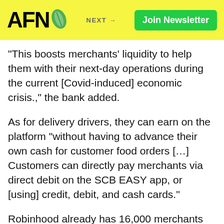AFN — NEXT → — Join Newsletter
“This boosts merchants’ liquidity to help them with their next-day operations during the current [Covid-induced] economic crisis.,” the bank added.
As for delivery drivers, they can earn on the platform “without having to advance their own cash for customer food orders […] Customers can directly pay merchants via direct debit on the SCB EASY app, or [using] credit, debit, and cash cards.”
Robinhood already has 16,000 merchants and 10,000 drivers signed up to its platform, with an objective of having 30,000 and 15,000, respectively, on board by the end of this year. It expects to be handling 20,000 meal deliveries per day over the